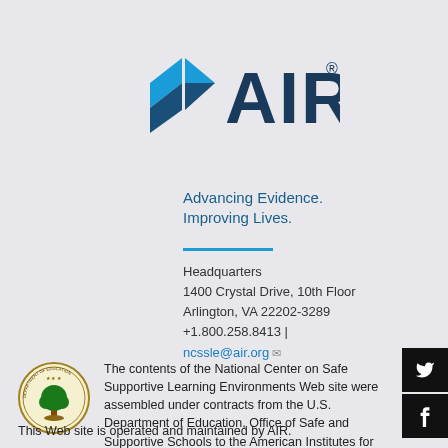[Figure (logo): AIR (American Institutes for Research) logo with diamond/chevron shape in teal/dark blue and AIR text in dark blue with registered trademark symbol]
Advancing Evidence.
Improving Lives.
Headquarters
1400 Crystal Drive, 10th Floor
Arlington, VA 22202-3289
+1.800.258.8413 |
ncssle@air.org
[Figure (logo): U.S. Department of Education circular seal with tree and eagle]
The contents of the National Center on Safe Supportive Learning Environments Web site were assembled under contracts from the U.S. Department of Education, Office of Safe and Supportive Schools to the American Institutes for Research (AIR), Contract Number 91990021A002
This Web site is operated and maintained by AIR.